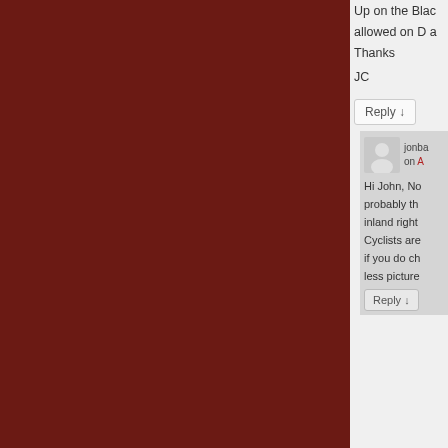Up on the Blac... allowed on D a... Thanks JC
Reply ↓
jonba... on A...
Hi John, No... probably th... inland right... Cyclists are... if you do ch... less picture...
Reply ↓